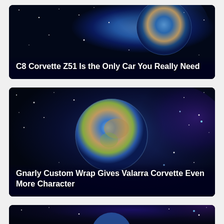[Figure (photo): Space scene with Earth globe visible against a dark starfield with blue/purple nebula. Card 1 of 3 article thumbnails.]
C8 Corvette Z51 Is the Only Car You Really Need
[Figure (photo): Space scene with Earth globe centered against a dark starfield with blue and purple nebula. Card 2 of 3 article thumbnails.]
Gnarly Custom Wrap Gives Valarra Corvette Even More Character
[Figure (photo): Space scene with Earth globe partially visible at bottom against a dark starfield with purple nebula. Card 3 of 3 article thumbnails, partially cut off.]